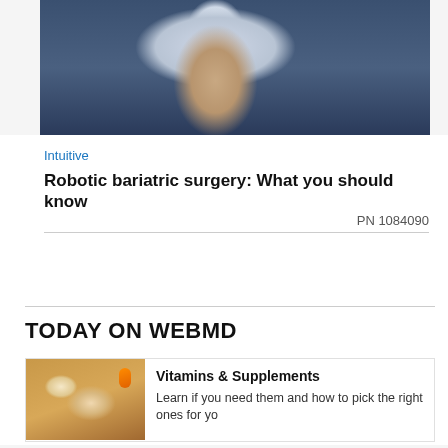[Figure (photo): Medical professional in blue scrubs and white surgical mask viewed from chest up, with medical equipment in background.]
Intuitive
Robotic bariatric surgery: What you should know
PN 1084090
TODAY ON WEBMD
[Figure (photo): Hands holding supplement pills with an orange pill bottle in background.]
Vitamins & Supplements
Learn if you need them and how to pick the right ones for yo
[Figure (photo): Partially visible image for second article card.]
ADVERTISEMENT
[Figure (other): Advertisement banner showing Yol Bypasso restaurant ad with Dine-in and Curbside pickup options.]